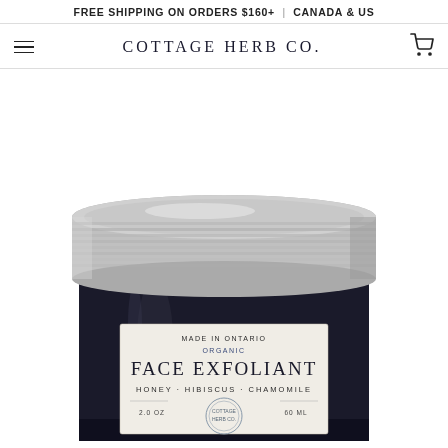FREE SHIPPING ON ORDERS $160+ | CANADA & US
COTTAGE HERB CO.
[Figure (photo): A dark glass jar of Face Exfoliant with a silver metal lid. The product label reads: MADE IN ONTARIO, ORGANIC, FACE EXFOLIANT, HONEY · HIBISCUS · CHAMOMILE, 2.0 OZ, 60 ML. The jar is photographed on a white background, partially cropped at the bottom.]